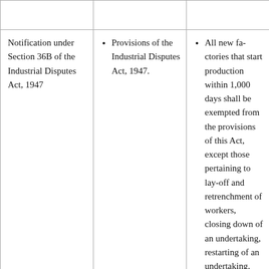|  |  |  |
| --- | --- | --- |
|  |  |  |
| Notification under Section 36B of the Industrial Disputes Act, 1947 | Provisions of the Industrial Disputes Act, 1947. | All new fa... start produ... within 1,00... be exempted... provisions... except thos... pertaining ... and retrench... workers, cl... down of an... undertakin... restarting o... undertakin... exemption... place for 1... from the d... |